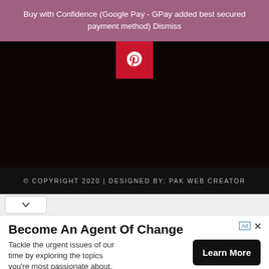Buy with Confidence (Google Pay - GPay added best secured payment method) Dismiss
[Figure (logo): Pinterest logo (white P on red background) centered at top of dark hero image area]
© COPYRIGHT 2020 | DESIGNED BY: PAK WEB CREATOR
[Figure (screenshot): Browser bottom UI bar with a chevron/down arrow button on left]
Become An Agent Of Change
Tackle the urgent issues of our time by exploring the topics you're most passionate about. Hampshire College
Learn More